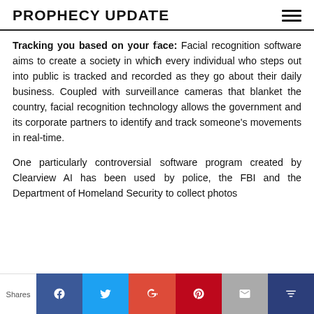PROPHECY UPDATE
Tracking you based on your face: Facial recognition software aims to create a society in which every individual who steps out into public is tracked and recorded as they go about their daily business. Coupled with surveillance cameras that blanket the country, facial recognition technology allows the government and its corporate partners to identify and track someone's movements in real-time.
One particularly controversial software program created by Clearview AI has been used by police, the FBI and the Department of Homeland Security to collect photos